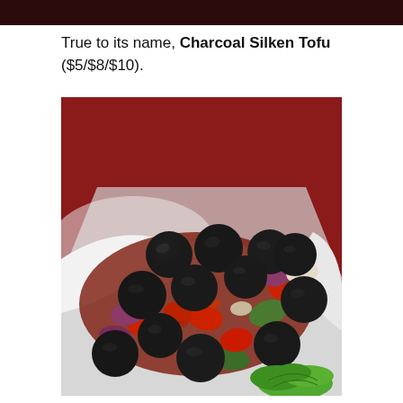True to its name, Charcoal Silken Tofu ($5/$8/$10).
[Figure (photo): Close-up photo of Charcoal Silken Tofu dish served on a white plate — dark charcoal-coloured tofu balls stir-fried with red capsicum, green capsicum, red onion, and sauce, garnished with green lettuce, on a red tablecloth background.]